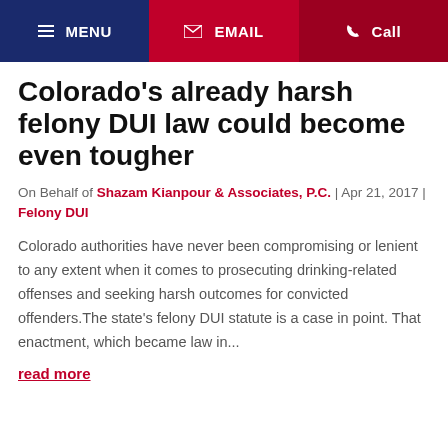MENU | EMAIL | Call
Colorado's already harsh felony DUI law could become even tougher
On Behalf of Shazam Kianpour & Associates, P.C. | Apr 21, 2017 | Felony DUI
Colorado authorities have never been compromising or lenient to any extent when it comes to prosecuting drinking-related offenses and seeking harsh outcomes for convicted offenders.The state's felony DUI statute is a case in point. That enactment, which became law in...
read more